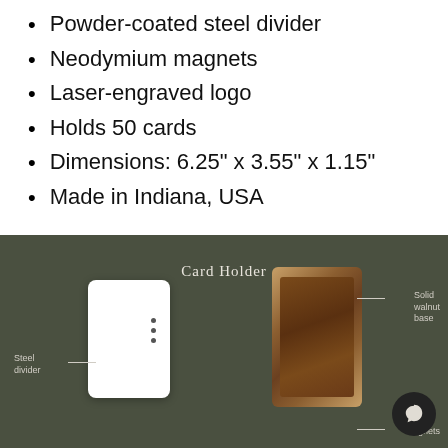Powder-coated steel divider
Neodymium magnets
Laser-engraved logo
Holds 50 cards
Dimensions: 6.25" x 3.55" x 1.15"
Made in Indiana, USA
[Figure (photo): Product photo on dark olive/green background showing components of a Card Holder: a white steel divider card on the left with three dots, a solid walnut base box on the right. Labels point to: Steel divider, Solid walnut base, Rare magnets. Title reads 'Card Holder'. A chat bubble icon is visible in the bottom right.]